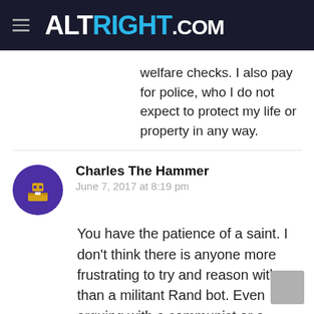ALTRIGHT.COM
welfare checks. I also pay for police, who I do not expect to protect my life or property in any way.
Charles The Hammer
June 7, 2017 at 8:19 pm
You have the patience of a saint. I don't think there is anyone more frustrating to try and reason with than a militant Rand bot. Even arguing with a communist or a neocon is less irritating.